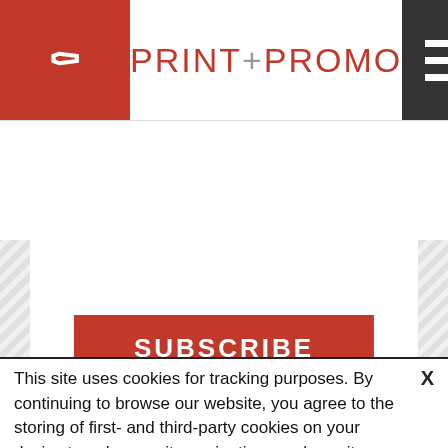[Figure (logo): Print+Promo logo in red with navigation bar. Left red block with search icon, center logo, right dark hamburger menu.]
[Figure (screenshot): Subscribe button (red) over diagonal-striped gray background with white boxes and smaller Print+Promo logo below]
This site uses cookies for tracking purposes. By continuing to browse our website, you agree to the storing of first- and third-party cookies on your device to enhance site navigation, analyze site usage, and assist in our marketing and
Accept and Close ✕
Your browser settings do not allow cross-site tracking for advertising. Click on this page to allow AdRoll to use cross-site tracking to tailor ads to you. Learn more or opt out of this AdRoll tracking by clicking here. This message only appears once.